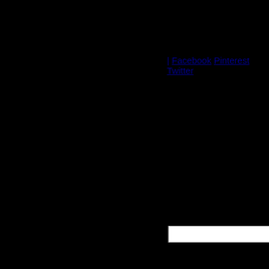| Facebook Pinterest Twitter
[Figure (illustration): Dark/black background area occupying most of the page, likely a photo or image area]
[Figure (other): Pin it button with red italic text and white background with border]
← Backyard Essentials for Your Pre-Cooked Ribs BBQ
Fun Backyard BBQ Games | Barbecue at Home →
[Figure (other): Search input box with white background]